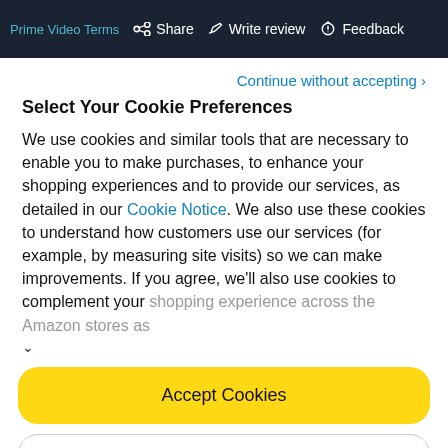Prime Video Terms  Share  Write review  Feedback
Continue without accepting ›
Select Your Cookie Preferences
We use cookies and similar tools that are necessary to enable you to make purchases, to enhance your shopping experiences and to provide our services, as detailed in our Cookie Notice. We also use these cookies to understand how customers use our services (for example, by measuring site visits) so we can make improvements. If you agree, we'll also use cookies to complement your shopping experience across the Amazon stores as
Accept Cookies
Customise Cookies